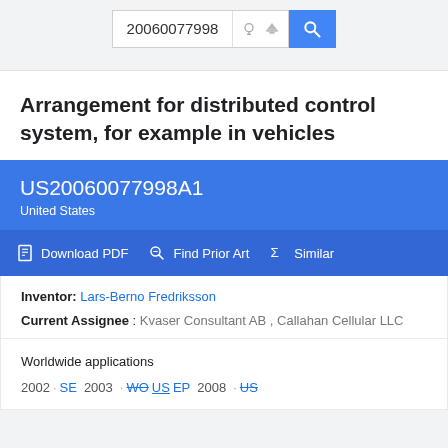20060077998
Arrangement for distributed control system, for example in vehicles
US20060077998A1
United States
Download PDF  Find Prior Art  Similar
Inventor: Lars-Berno Fredriksson
Current Assignee : Kvaser Consultant AB , Callahan Cellular LLC
Worldwide applications
2002 · SE  2003 · WO US EP  2008 · US